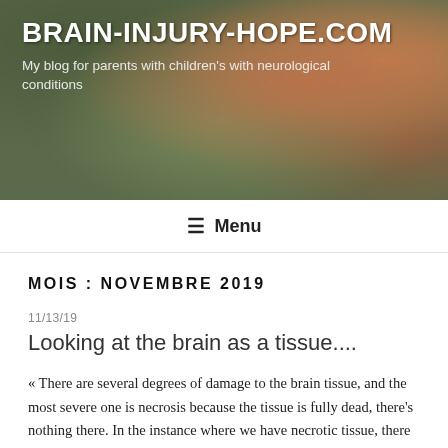[Figure (photo): Blog header banner with photo of a child being hugged by someone in a Spider-Man costume, with dark overlay]
BRAIN-INJURY-HOPE.COM
My blog for parents with children's with neurological conditions
≡ Menu
MOIS : NOVEMBRE 2019
11/13/19
Looking at the brain as a tissue....
« There are several degrees of damage to the brain tissue, and the most severe one is necrosis because the tissue is fully dead, there's nothing there. In the instance where we have necrotic tissue, there is nothing we can do. But in the surrounding tissue, there might be tissue